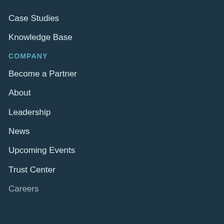Case Studies
Knowledge Base
COMPANY
Become a Partner
About
Leadership
News
Upcoming Events
Trust Center
Careers